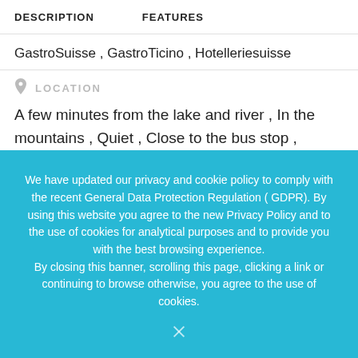DESCRIPTION   FEATURES
GastroSuisse , GastroTicino , Hotelleriesuisse
LOCATION
A few minutes from the lake and river , In the mountains , Quiet , Close to the bus stop , Panoramic view
We have updated our privacy and cookie policy to comply with the recent General Data Protection Regulation ( GDPR). By using this website you agree to the new Privacy Policy and to the use of cookies for analytical purposes and to provide you with the best browsing experience.
By closing this banner, scrolling this page, clicking a link or continuing to browse otherwise, you agree to the use of cookies.